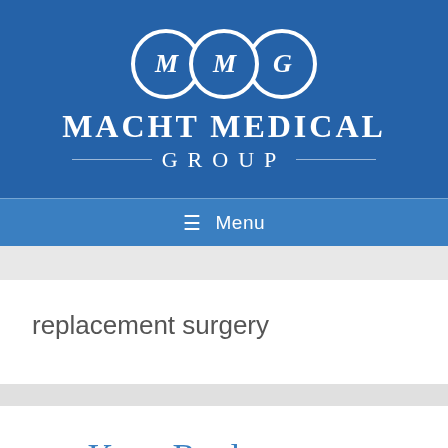[Figure (logo): Macht Medical Group logo: three overlapping white circles with M, M, G letters on a blue background, with the text MACHT MEDICAL GROUP below]
≡  Menu
replacement surgery
Knee Replacement Surgery